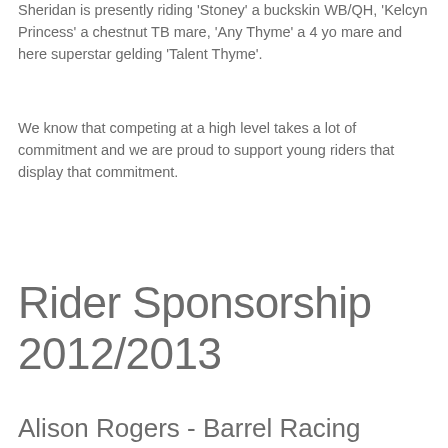Sheridan is presently riding 'Stoney' a buckskin WB/QH, 'Kelcsyn Princess' a chestnut TB mare, 'Any Thyme' a 4 yo mare and here superstar gelding 'Talent Thyme'.
We know that competing at a high level takes a lot of commitment and we are proud to support young riders that display that commitment.
Rider Sponsorship 2012/2013
Alison Rogers - Barrel Racing